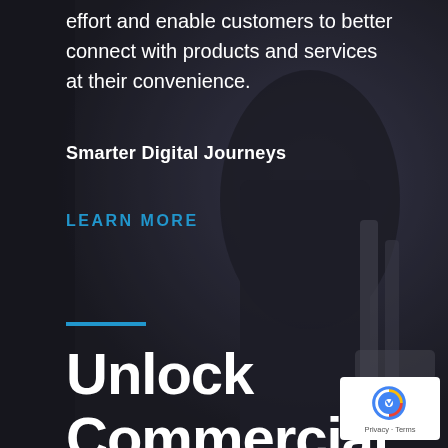[Figure (photo): Dark background photograph of a person in a black outfit, partially visible, seated near a chair, with muted dark tones.]
effort and enable customers to better connect with products and services at their convenience.
Smarter Digital Journeys
LEARN MORE
Unlock Commercial